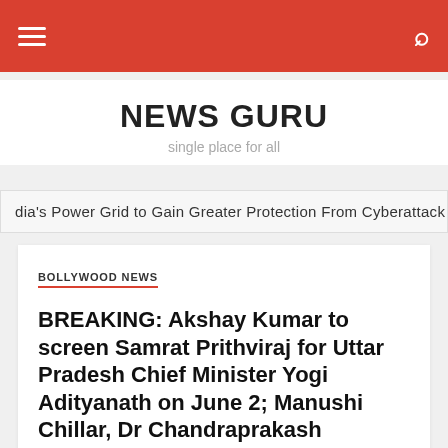NEWS GURU — site header bar with hamburger menu and search icon
NEWS GURU
single place for all
dia's Power Grid to Gain Greater Protection From Cyberattack
BOLLYWOOD NEWS
BREAKING: Akshay Kumar to screen Samrat Prithviraj for Uttar Pradesh Chief Minister Yogi Adityanath on June 2; Manushi Chillar, Dr Chandraprakash Dwivedi will also be present for the screening